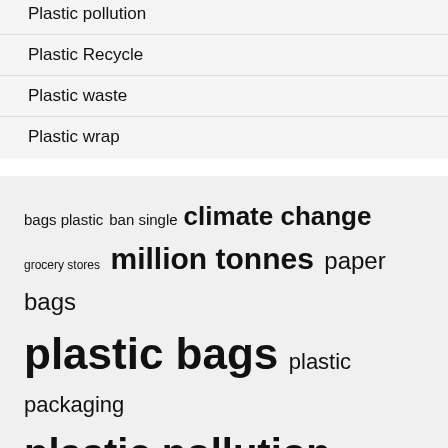Plastic pollution
Plastic Recycle
Plastic waste
Plastic wrap
[Figure (infographic): Tag cloud with plastic-related keywords in varying font sizes. Terms include: bags plastic, ban single, climate change, grocery stores, million tonnes, paper bags, plastic bags, plastic packaging, plastic pollution, plastic waste, reduce plastic, reusable bags, single plastics]